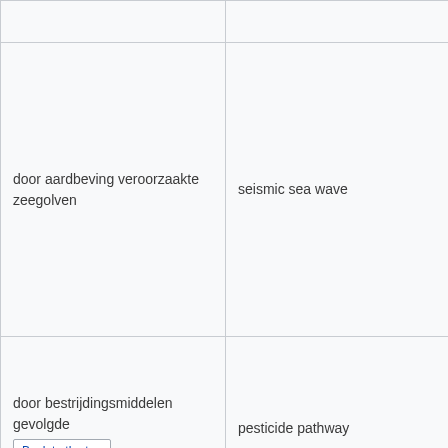| Dutch term | English term | Definition |
| --- | --- | --- |
|  |  | ( |
| door aardbeving veroorzaakte zeegolven | seismic sea wave | A
w
d
e
e
o
l
h
s
i
t
s
9 |
| door bestrijdingsmiddelen gevolgde | pesticide pathway | T
a
t
m
i
a |